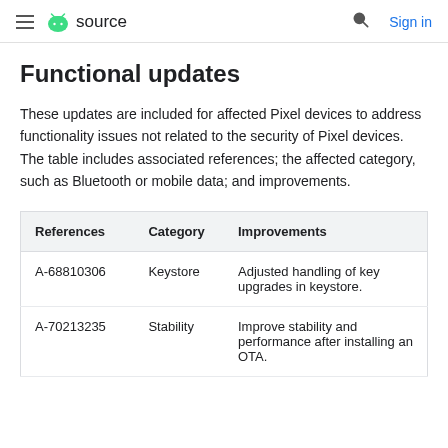≡ android source  🔍 Sign in
Functional updates
These updates are included for affected Pixel devices to address functionality issues not related to the security of Pixel devices. The table includes associated references; the affected category, such as Bluetooth or mobile data; and improvements.
| References | Category | Improvements |
| --- | --- | --- |
| A-68810306 | Keystore | Adjusted handling of key upgrades in keystore. |
| A-70213235 | Stability | Improve stability and performance after installing an OTA. |